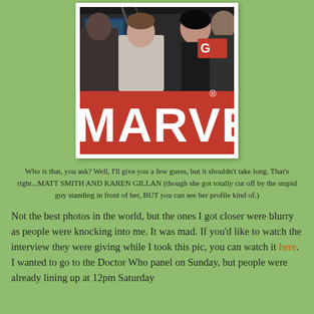[Figure (photo): A photo showing people at what appears to be a convention or event. The lower portion shows a large red Marvel logo/banner with white text reading 'MARVEL'. The upper portion shows people standing, partially visible, with dark background lighting/equipment visible.]
Who is that, you ask? Well, I'll give you a few guess, but it shouldn't take long. That's right...MATT SMITH AND KAREN GILLAN (though she got totally cut off by the stupid guy standing in front of her, BUT you can see her profile kind of.)
Not the best photos in the world, but the ones I got closer were blurry as people were knocking into me. It was mad. If you'd like to watch the interview they were giving while I took this pic, you can watch it here. I wanted to go to the Doctor Who panel on Sunday, but people were already lining up at 12pm Saturday